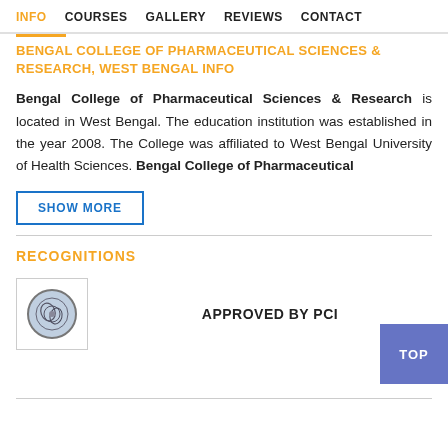INFO  COURSES  GALLERY  REVIEWS  CONTACT
BENGAL COLLEGE OF PHARMACEUTICAL SCIENCES & RESEARCH, WEST BENGAL INFO
Bengal College of Pharmaceutical Sciences & Research is located in West Bengal. The education institution was established in the year 2008. The College was affiliated to West Bengal University of Health Sciences. Bengal College of Pharmaceutical
SHOW MORE
RECOGNITIONS
APPROVED BY PCI